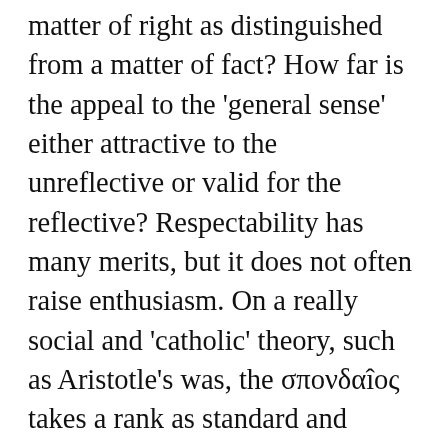matter of right as distinguished from a matter of fact? How far is the appeal to the 'general sense' either attractive to the unreflective or valid for the reflective? Respectability has many merits, but it does not often raise enthusiasm. On a really social and 'catholic' theory, such as Aristotle's was, the σπονδαîος takes a rank as standard and motive which on a 'protestant' theory he cannot have. Speaking generally, the idealist contention has much truth, that sense (as regarded by sensationahsts themselves) is not a bond of union or a basis of common action, and that the conception of a common good is a cause rather than an effect of sympathy.